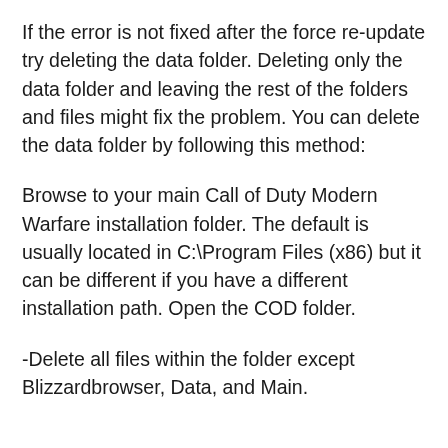If the error is not fixed after the force re-update try deleting the data folder. Deleting only the data folder and leaving the rest of the folders and files might fix the problem. You can delete the data folder by following this method:
Browse to your main Call of Duty Modern Warfare installation folder. The default is usually located in C:\Program Files (x86) but it can be different if you have a different installation path. Open the COD folder.
-Delete all files within the folder except Blizzardbrowser, Data, and Main.